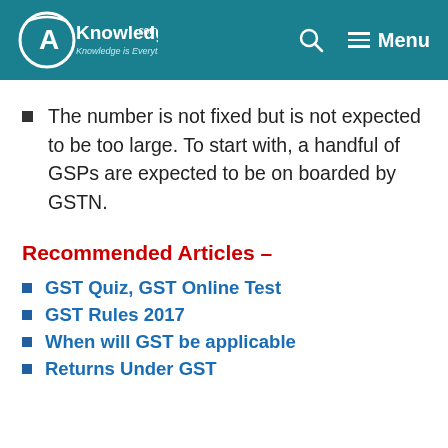CAknowledge.com — Knowledge is Everything | Menu
The number is not fixed but is not expected to be too large. To start with, a handful of GSPs are expected to be on boarded by GSTN.
Recommended Articles –
GST Quiz, GST Online Test
GST Rules 2017
When will GST be applicable
Returns Under GST